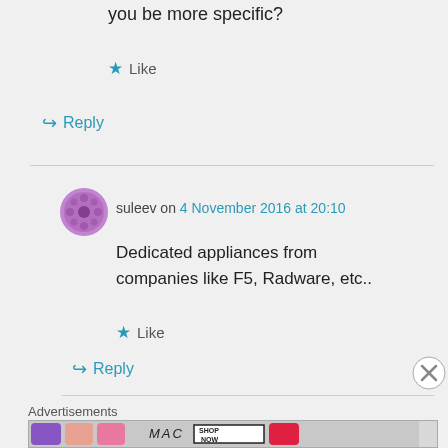you be more specific?
★ Like
↪ Reply
suleev on 4 November 2016 at 20:10
Dedicated appliances from companies like F5, Radware, etc..
★ Like
↪ Reply
Advertisements